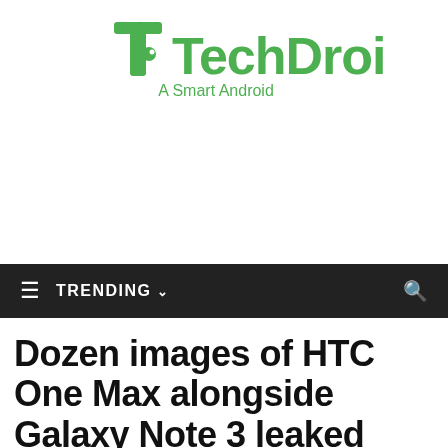[Figure (logo): TechDroid logo with green android-style T icon and text 'TechDroid - A Smart Android']
≡  TRENDING ∨  🔍
Dozen images of HTC One Max alongside Galaxy Note 3 leaked online, confirms Snapdragon 600 SoC, 5.9-inch FHD display and